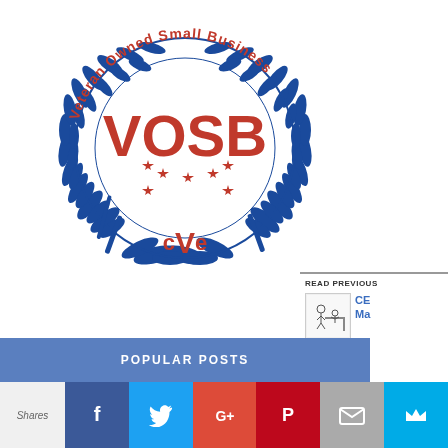[Figure (logo): VOSB (Veteran Owned Small Business) seal with blue laurel wreath, red VOSB text, red stars, curved text reading 'Veteran Owned Small Business', and cVe text at the bottom]
READ PREVIOUS
[Figure (illustration): Small thumbnail illustration of a person at a desk]
CE Ma
All leaders leaders an
POPULAR POSTS
Shares
[Figure (infographic): Social sharing buttons: Facebook (blue), Twitter (cyan), Google+ (red-orange), Pinterest (red), Email (gray), Monarch (blue)]